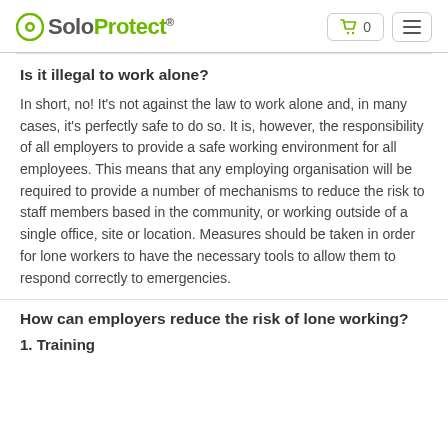SoloProtect
Is it illegal to work alone?
In short, no! It's not against the law to work alone and, in many cases, it's perfectly safe to do so. It is, however, the responsibility of all employers to provide a safe working environment for all employees. This means that any employing organisation will be required to provide a number of mechanisms to reduce the risk to staff members based in the community, or working outside of a single office, site or location. Measures should be taken in order for lone workers to have the necessary tools to allow them to respond correctly to emergencies.
How can employers reduce the risk of lone working?
1. Training